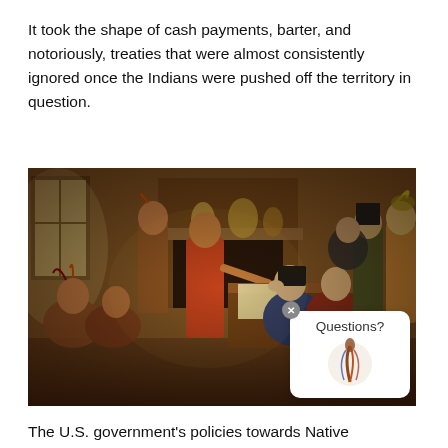It took the shape of cash payments, barter, and notoriously, treaties that were almost consistently ignored once the Indians were pushed off the territory in question.
[Figure (illustration): Historical painting depicting a treaty signing between Native Americans and European colonists in an interior room setting. A Native American man in red clothing shakes hands across a table with seated European figures, while other Native Americans and colonists look on.]
The U.S. government's policies towards Native